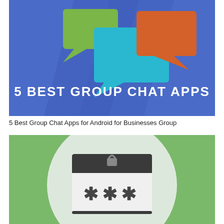[Figure (illustration): Blue background illustration with speech bubble chat icons in green, teal/blue, and orange colors. Bold white text reads '5 BEST GROUP CHAT APPS' with diagonal shadow overlays.]
5 Best Group Chat Apps for Android for Businesses Group
[Figure (illustration): Green background with a large light grey circle containing a dark grey browser/login window illustration with a padlock icon on a dark header bar and three asterisks (***) in the white content area, representing a password/security concept.]